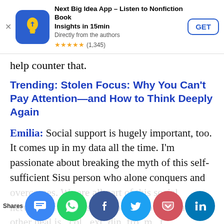[Figure (other): App store advertisement banner for 'Next Big Idea App – Listen to Nonfiction Book Insights in 15min. Directly from the authors. ★★★★★ (1,345)' with a GET button and blue lightbulb icon.]
help counter that.
Trending: Stolen Focus: Why You Can't Pay Attention—and How to Think Deeply Again
Emilia: Social support is hugely important, too. It comes up in my data all the time. I'm passionate about breaking the myth of this self-sufficient Sisu person who alone conquers and overcomes. We are all part of this social network of humans. Our power to help each other heal is col ext din fro m t 're b l we ch o o oth peo
[Figure (other): Social sharing bar with buttons: SMS/Share (blue), WhatsApp (green), Facebook (dark blue), Twitter (light blue), Pocket (red), LinkedIn (blue). Label 'Shares' on the left.]